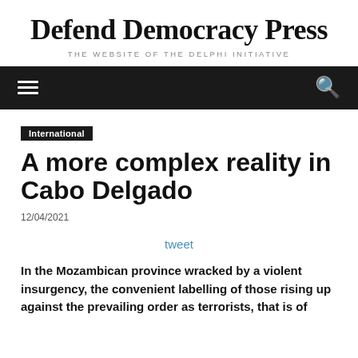Defend Democracy Press
THE WEBSITE OF THE DELPHI INITIATIVE
International
A more complex reality in Cabo Delgado
12/04/2021
tweet
In the Mozambican province wracked by a violent insurgency, the convenient labelling of those rising up against the prevailing order as terrorists, that is of...